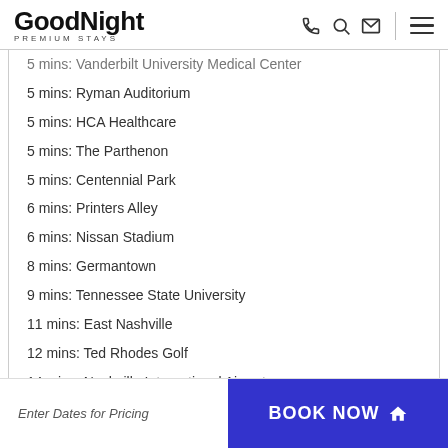GoodNight PREMIUM STAYS
5 mins: Vanderbilt University Medical Center
5 mins: Ryman Auditorium
5 mins: HCA Healthcare
5 mins: The Parthenon
5 mins: Centennial Park
6 mins: Printers Alley
6 mins: Nissan Stadium
8 mins: Germantown
9 mins: Tennessee State University
11 mins: East Nashville
12 mins: Ted Rhodes Golf
14 mins: Nashville International Airport
14 mins: McCabe Golf Course
19 mins: Gaylord Springs Golf Links
Enter Dates for Pricing
BOOK NOW